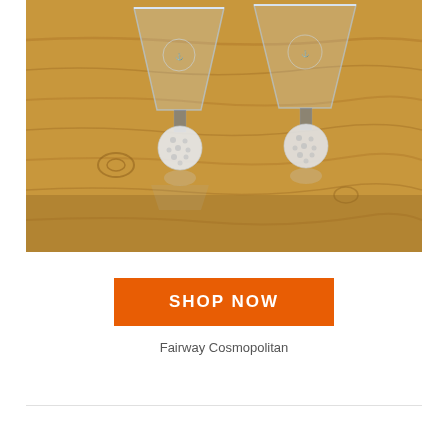[Figure (photo): Two martini glasses with frosted golf ball bases, engraved with a logo, sitting on a warm wood surface. The glasses are clear with wide conical bowls tapering to a frosted spherical stem.]
SHOP NOW
Fairway Cosmopolitan